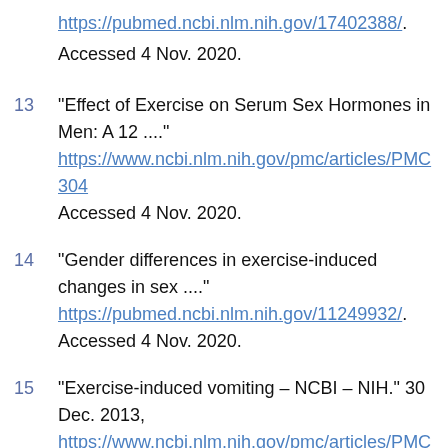https://pubmed.ncbi.nlm.nih.gov/17402388/. Accessed 4 Nov. 2020.
13 “Effect of Exercise on Serum Sex Hormones in Men: A 12 ….” https://www.ncbi.nlm.nih.gov/pmc/articles/PMC304... Accessed 4 Nov. 2020.
14 “Gender differences in exercise-induced changes in sex ….” https://pubmed.ncbi.nlm.nih.gov/11249932/. Accessed 4 Nov. 2020.
15 “Exercise-induced vomiting – NCBI – NIH.” 30 Dec. 2013, https://www.ncbi.nlm.nih.gov/pmc/articles/PMC40...